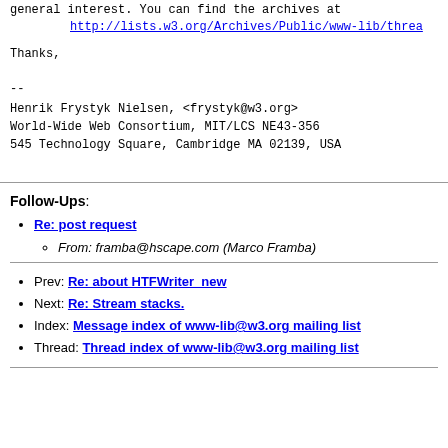general interest. You can find the archives at
http://lists.w3.org/Archives/Public/www-lib/threa
Thanks,
--
Henrik Frystyk Nielsen, <frystyk@w3.org>
World-Wide Web Consortium, MIT/LCS NE43-356
545 Technology Square, Cambridge MA 02139, USA
Follow-Ups:
Re: post request — From: framba@hscape.com (Marco Framba)
Prev: Re: about HTFWriter_new
Next: Re: Stream stacks.
Index: Message index of www-lib@w3.org mailing list
Thread: Thread index of www-lib@w3.org mailing list